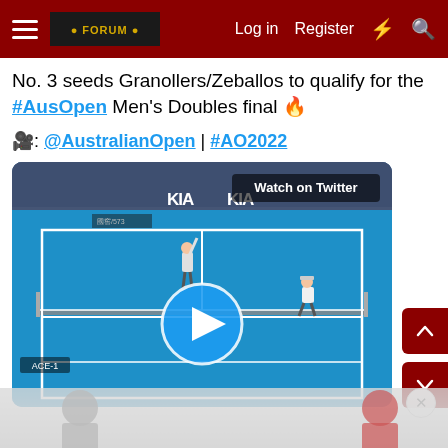Log in | Register
No. 3 seeds Granollers/Zeballos to qualify for the #AusOpen Men's Doubles final 🔥
🎥: @AustralianOpen | #AO2022
[Figure (screenshot): Video thumbnail of Australian Open Men's Doubles tennis match on blue hard court with KIA sponsor banners, showing two players in action, with a blue play button overlay and 'Watch on Twitter' badge in the top right corner]